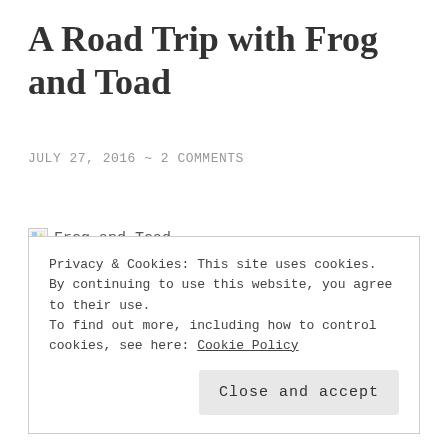A Road Trip with Frog and Toad
JULY 27, 2016 ~ 2 COMMENTS
[Figure (photo): Broken image placeholder with alt text 'Frog and Toad']
Privacy & Cookies: This site uses cookies. By continuing to use this website, you agree to their use.
To find out more, including how to control cookies, see here: Cookie Policy
Close and accept